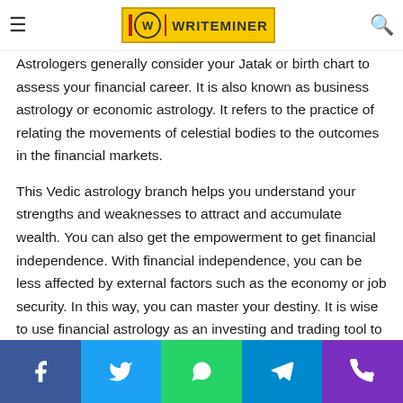WRITEMINER (nav bar with logo)
Astrologers generally consider your Jatak or birth chart to assess your financial career. It is also known as business astrology or economic astrology. It refers to the practice of relating the movements of celestial bodies to the outcomes in the financial markets.
This Vedic astrology branch helps you understand your strengths and weaknesses to attract and accumulate wealth. You can also get the empowerment to get financial independence. With financial independence, you can be less affected by external factors such as the economy or job security. In this way, you can master your destiny. It is wise to use financial astrology as an investing and trading tool to get a better financial gain in life. Business people use astrology to